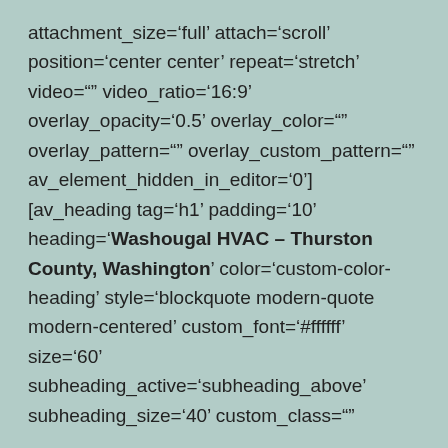attachment_size='full' attach='scroll' position='center center' repeat='stretch' video='' video_ratio='16:9' overlay_opacity='0.5' overlay_color='' overlay_pattern='' overlay_custom_pattern='' av_element_hidden_in_editor='0'] [av_heading tag='h1' padding='10' heading='Washougal HVAC – Thurston County, Washington' color='custom-color-heading' style='blockquote modern-quote modern-centered' custom_font='#ffffff' size='60' subheading_active='subheading_above' subheading_size='40' custom_class=''